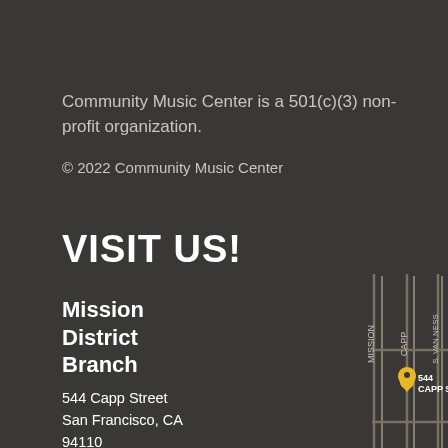Community Music Center is a 501(c)(3) non-profit organization.
© 2022 Community Music Center
VISIT US!
Mission District Branch
544 Capp Street
San Francisco, CA
94110
Tel (415) 647
[Figure (map): Street map showing intersection of Mission, Capp, and S. Van Ness streets, with 20th St and 21st St cross streets. Location pin marks 544 Capp St.]